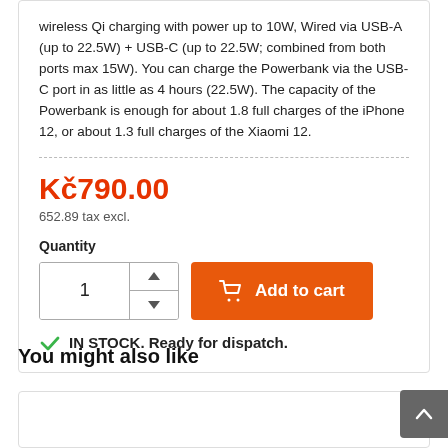wireless Qi charging with power up to 10W, Wired via USB-A (up to 22.5W) + USB-C (up to 22.5W; combined from both ports max 15W). You can charge the Powerbank via the USB-C port in as little as 4 hours (22.5W). The capacity of the Powerbank is enough for about 1.8 full charges of the iPhone 12, or about 1.3 full charges of the Xiaomi 12.
Kč790.00
652.89 tax excl.
Quantity
[Figure (screenshot): Quantity input with up/down arrows showing value 1, and an orange Add to cart button with shopping cart icon]
IN STOCK. Ready for dispatch.
You might also like